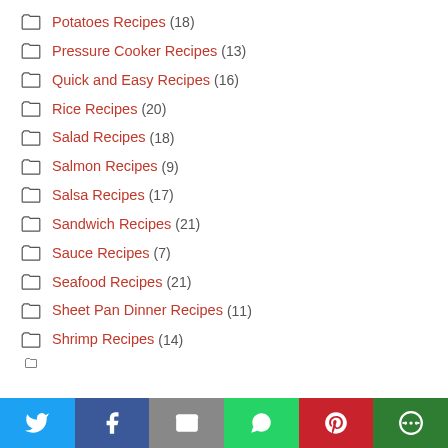Potatoes Recipes (18)
Pressure Cooker Recipes (13)
Quick and Easy Recipes (16)
Rice Recipes (20)
Salad Recipes (18)
Salmon Recipes (9)
Salsa Recipes (17)
Sandwich Recipes (21)
Sauce Recipes (7)
Seafood Recipes (21)
Sheet Pan Dinner Recipes (11)
Shrimp Recipes (14)
[Figure (infographic): Social share bar with Twitter, Facebook, Email, WhatsApp, Pinterest, and More buttons]